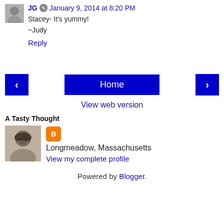JG  January 9, 2014 at 8:20 PM
Stacey- It's yummy!
~Judy
Reply
[Figure (other): Navigation bar with back arrow button, Home button, and forward arrow button]
View web version
A Tasty Thought
[Figure (photo): Profile photo of a woman with short gray hair and glasses, smiling]
Longmeadow, Massachusetts
View my complete profile
Powered by Blogger.